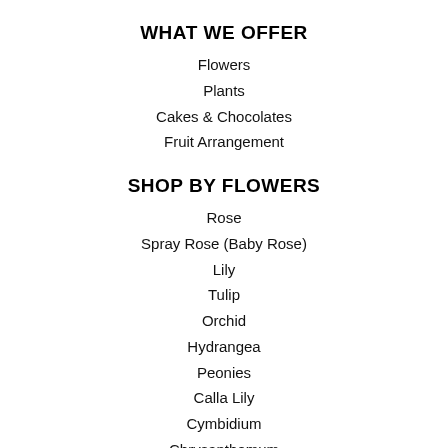WHAT WE OFFER
Flowers
Plants
Cakes & Chocolates
Fruit Arrangement
SHOP BY FLOWERS
Rose
Spray Rose (Baby Rose)
Lily
Tulip
Orchid
Hydrangea
Peonies
Calla Lily
Cymbidium
Chrysanthemum